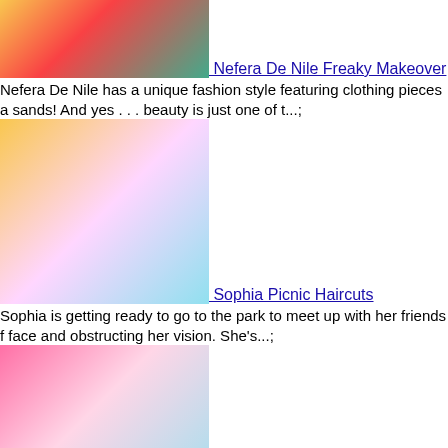[Figure (illustration): Nefera De Nile cartoon character - partial view of torso with green top and pink accessories]
Nefera De Nile Freaky Makeover
Nefera De Nile has a unique fashion style featuring clothing pieces a sands! And yes . . . beauty is just one of t...;
[Figure (illustration): Sophia cartoon character with large eyes, golden hair in pigtails with scissors nearby, picnic haircut theme]
Sophia Picnic Haircuts
Sophia is getting ready to go to the park to meet up with her friends f face and obstructing her vision. She's...;
[Figure (illustration): Barbie cartoon character with long golden hair, pink dress, standing in front of a pink mirror, scissors nearby]
Barbie Golden Haircuts
Barbie?s Golden hair-locks got pretty damaged during the hot summ